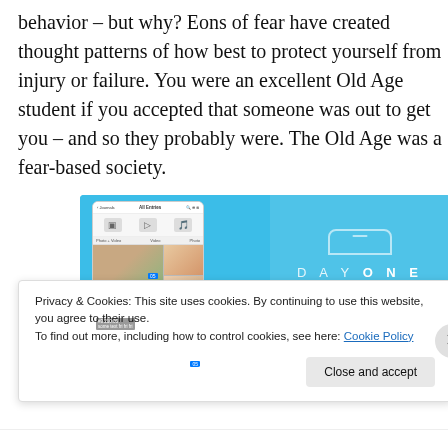behavior – but why? Eons of fear have created thought patterns of how best to protect yourself from injury or failure. You were an excellent Old Age student if you accepted that someone was out to get you – and so they probably were. The Old Age was a fear-based society.
[Figure (screenshot): DayOne app screenshot showing a journal app interface on the left (phone mockup with photo grid) and DayOne branding on the right with text 'DAY ONE' and 'Your Journal for life' on a light blue background.]
Privacy & Cookies: This site uses cookies. By continuing to use this website, you agree to their use.
To find out more, including how to control cookies, see here: Cookie Policy
Close and accept